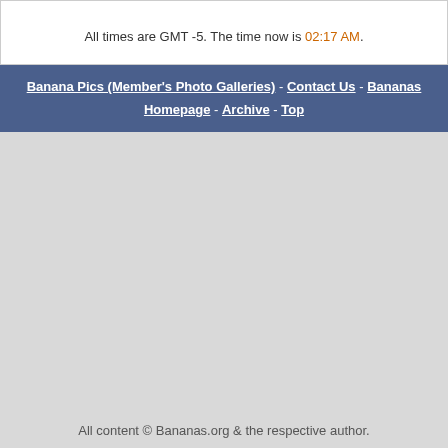All times are GMT -5. The time now is 02:17 AM.
Banana Pics (Member's Photo Galleries) - Contact Us - Bananas Homepage - Archive - Top
All content © Bananas.org & the respective author.